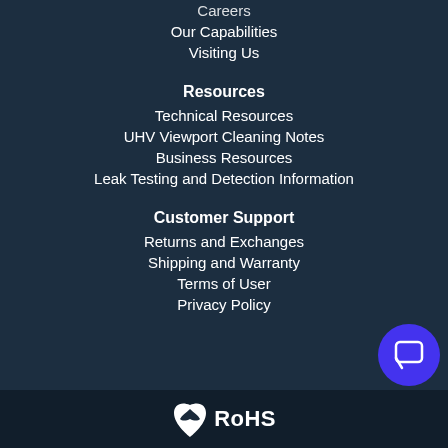Careers
Our Capabilities
Visiting Us
Resources
Technical Resources
UHV Viewport Cleaning Notes
Business Resources
Leak Testing and Detection Information
Customer Support
Returns and Exchanges
Shipping and Warranty
Terms of User
Privacy Policy
[Figure (logo): RoHS compliance logo with leaf icon in white on dark background]
[Figure (illustration): Blue circular chat/support button in bottom right corner]